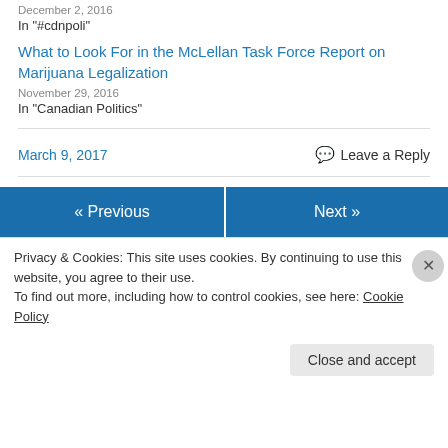December 2, 2016
In "#cdnpoli"
What to Look For in the McLellan Task Force Report on Marijuana Legalization
November 29, 2016
In "Canadian Politics"
March 9, 2017
Leave a Reply
« Previous
Next »
Privacy & Cookies: This site uses cookies. By continuing to use this website, you agree to their use.
To find out more, including how to control cookies, see here: Cookie Policy
Close and accept